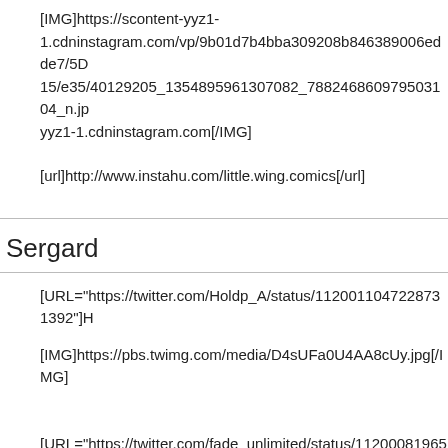[IMG]https://scontent-yyz1-1.cdninstagram.com/vp/9b01d7b4bba309208b846389006edde7/5D15/e35/40129205_1354895961307082_788246860979503104_n.jp yyz1-1.cdninstagram.com[/IMG]
[url]http://www.instahu.com/little.wing.comics[/url]
Sergard
[URL="https://twitter.com/Holdp_A/status/1120011047228731392"]H
[IMG]https://pbs.twimg.com/media/D4sUFa0U4AA8cUy.jpg[/IMG]
[URL="https://twitter.com/fade_unlimited/status/11200081965238477
[IMG]https://pbs.twimg.com/media/D4sQwUmUUAAdkze.jpg[/IMG]
Sergard
[URL="http://inkydandy.tumblr.com/post/184328139137/so-its-come